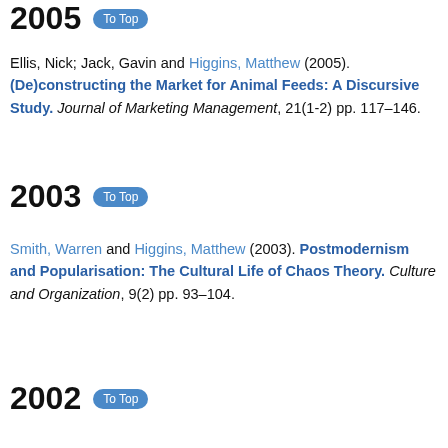2005 [To Top]
Ellis, Nick; Jack, Gavin and Higgins, Matthew (2005). (De)constructing the Market for Animal Feeds: A Discursive Study. Journal of Marketing Management, 21(1-2) pp. 117–146.
2003 [To Top]
Smith, Warren and Higgins, Matthew (2003). Postmodernism and Popularisation: The Cultural Life of Chaos Theory. Culture and Organization, 9(2) pp. 93–104.
2002 [To Top]